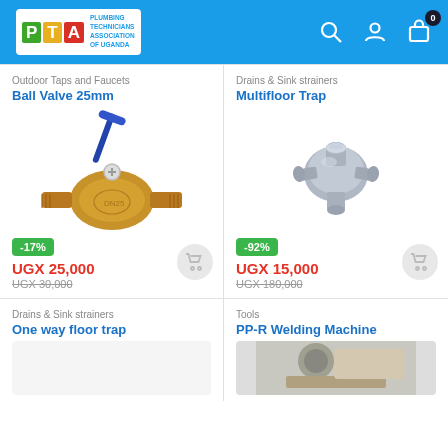[Figure (logo): PTA - Plumbing Technicians Association of Uganda logo with colored letter tiles and text]
Outdoor Taps and Faucets
Ball Valve 25mm
[Figure (photo): Brass ball valve with blue lever handle, 25mm]
-17%
UGX 25,000
UGX 30,000
Drains & Sink strainers
Multifloor Trap
[Figure (photo): Grey plastic multifloor trap plumbing fitting with multiple ports]
-92%
UGX 15,000
UGX 180,000
Drains & Sink strainers
One way floor trap
Tools
PP-R Welding Machine
[Figure (photo): PP-R welding machine partial view at bottom of page]